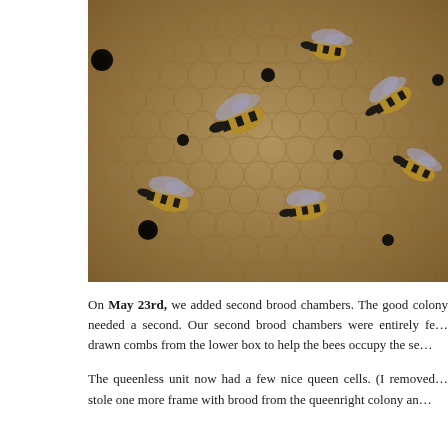[Figure (photo): Close-up photograph of honeybees on a honeycomb. Many bees are visible crawling over tan/brown capped brood cells. Some cells appear open and dark. Bees show characteristic yellow and black striped abdomens with translucent wings.]
On May 23rd, we added second brood chambers. The good colony needed a second. Our second brood chambers were entirely fe... drawn combs from the lower box to help the bees occupy the se...
The queenless unit now had a few nice queen cells. (I removed... stole one more frame with brood from the queenright colony an...